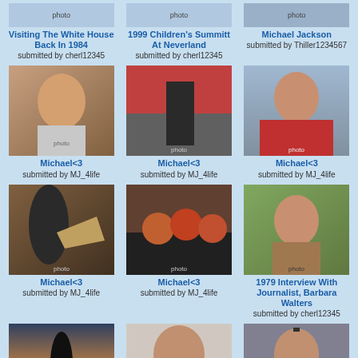[Figure (photo): Michael Jackson visiting the White House Back In 1984]
Visiting The White House Back In 1984
submitted by cherl12345
[Figure (photo): 1999 Children's Summitt At Neverland]
1999 Children's Summitt At Neverland
submitted by cherl12345
[Figure (photo): Michael Jackson photo]
Michael Jackson
submitted by Thriller1234567
[Figure (photo): Michael Jackson portrait close-up]
Michael<3
submitted by MJ_4life
[Figure (photo): Michael Jackson in military-style outfit]
Michael<3
submitted by MJ_4life
[Figure (photo): Michael Jackson in red military jacket]
Michael<3
submitted by MJ_4life
[Figure (photo): Michael Jackson performing on stage pointing]
Michael<3
submitted by MJ_4life
[Figure (photo): Michael Jackson dancing with group in orange]
Michael<3
submitted by MJ_4life
[Figure (photo): Michael Jackson 1979 interview with Barbara Walters]
1979 Interview With Journalist, Barbara Walters
submitted by cherl12345
[Figure (photo): Michael Jackson silhouette at sunset]
MJ Earth...
[Figure (photo): Michael Jackson with glasses close-up]
[Figure (photo): Michael Jackson with umbrella]